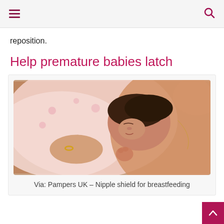reposition.
Help premature babies latch
[Figure (photo): A premature newborn baby resting against a mother's chest, being supported by a hand wearing a gold ring. The baby is wrapped in a pink floral blanket. A nipple shield for breastfeeding is visible.]
Via: Pampers UK – Nipple shield for breastfeeding